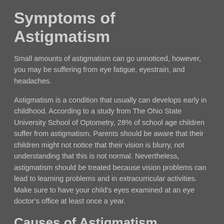Symptoms of Astigmatism
Small amounts of astigmatism can go unnoticed, however, you may be suffering from eye fatigue, eyestrain, and headaches.
Astigmatism is a condition that usually can develops early in childhood. According to a study from The Ohio State University School of Optometry, 28% of school age children suffer from astigmatism. Parents should be aware that their children might not notice that their vision is blurry, not understanding that this is not normal. Nevertheless, astigmatism should be treated because vision problems can lead to learning problems and in extracurricular activities. Make sure to have your child’s eyes examined at an eye doctor’s office at least once a year.
Causes of Astigmatism
Astigmatism is generally caused by a cornea with an irregular shape. The cornea is the front, clear layer of the eye. With astigmatism, the cornea is not round and spherical and is instead irregular having two curves instead of one curve. Astigmatism in